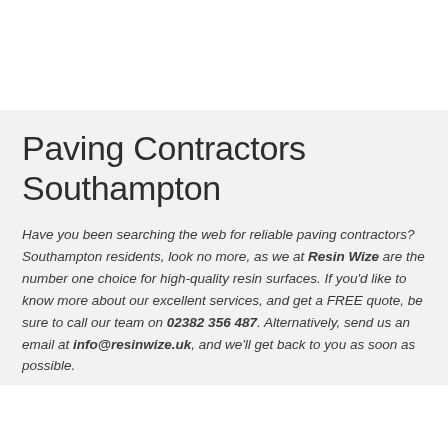Paving Contractors Southampton
Have you been searching the web for reliable paving contractors? Southampton residents, look no more, as we at Resin Wize are the number one choice for high-quality resin surfaces. If you'd like to know more about our excellent services, and get a FREE quote, be sure to call our team on 02382 356 487. Alternatively, send us an email at info@resinwize.uk, and we'll get back to you as soon as possible.